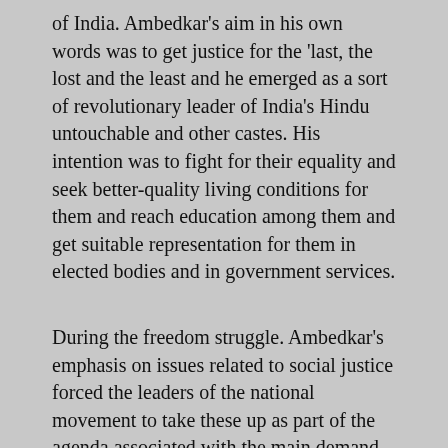of India. Ambedkar's aim in his own words was to get justice for the 'last, the lost and the least and he emerged as a sort of revolutionary leader of India's Hindu untouchable and other castes. His intention was to fight for their equality and seek better-quality living conditions for them and reach education among them and get suitable representation for them in elected bodies and in government services.
During the freedom struggle. Ambedkar's emphasis on issues related to social justice forced the leaders of the national movement to take these up as part of the agenda associated with the main demand for unshackling the country from the chains of colonialism. Ambedkar was a highly educated person with great academic accomplishments and a lawyer by training. His views on social justice are